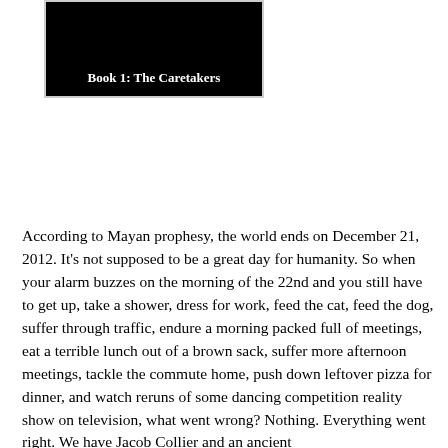[Figure (illustration): Book cover image with black background showing 'Book 1: The Caretakers' text in white bold font]
According to Mayan prophesy, the world ends on December 21, 2012. It's not supposed to be a great day for humanity. So when your alarm buzzes on the morning of the 22nd and you still have to get up, take a shower, dress for work, feed the cat, feed the dog, suffer through traffic, endure a morning packed full of meetings, eat a terrible lunch out of a brown sack, suffer more afternoon meetings, tackle the commute home, push down leftover pizza for dinner, and watch reruns of some dancing competition reality show on television, what went wrong? Nothing. Everything went right. We have Jacob Collier and an ancient